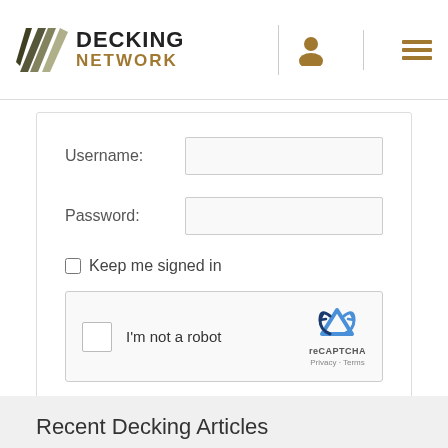[Figure (logo): Decking Network logo with diagonal stripe icon and text DECKING NETWORK]
Username:
Password:
Keep me signed in
[Figure (screenshot): reCAPTCHA widget with checkbox and I'm not a robot text, reCAPTCHA branding, Privacy and Terms links]
Log In
Recent Decking Articles